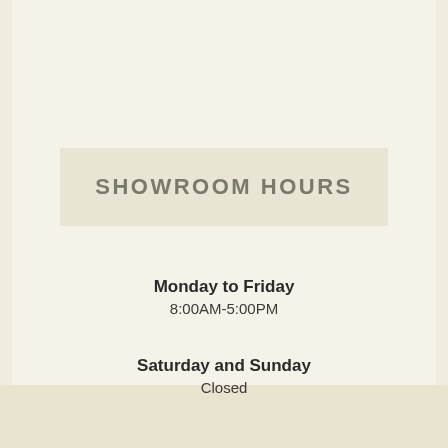SHOWROOM HOURS
Monday to Friday
8:00AM-5:00PM
Saturday and Sunday
Closed